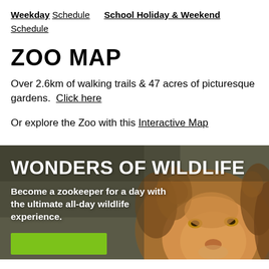Weekday Schedule   School Holiday & Weekend Schedule
ZOO MAP
Over 2.6km of walking trails & 47 acres of picturesque gardens.  Click here
Or explore the Zoo with this Interactive Map
[Figure (photo): Close-up photo of a lion's face with a blurred background, overlaid with white bold text 'WONDERS OF WILDLIFE' and subtext 'Become a zookeeper for a day with the ultimate all-day wildlife experience.' A green button is visible at the bottom left.]